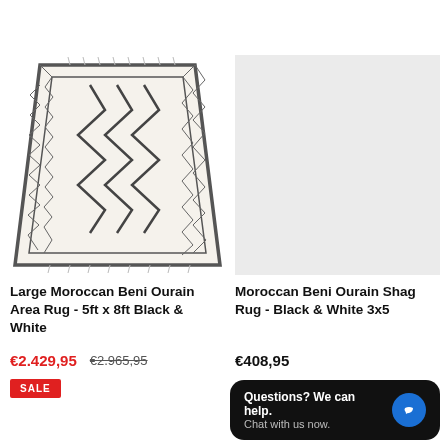[Figure (other): SALE badge top center]
[Figure (photo): Large Moroccan Beni Ourain Area Rug - 5ft x 8ft, white with black zigzag geometric pattern, trapezoid shape]
[Figure (photo): Moroccan Beni Ourain Shag Rug placeholder image, light gray background]
Large Moroccan Beni Ourain Area Rug - 5ft x 8ft Black & White
€2.429,95  €2.965,95
SALE
Moroccan Beni Ourain Shag Rug - Black & White 3x5
€408,95
Questions? We can help. Chat with us now.